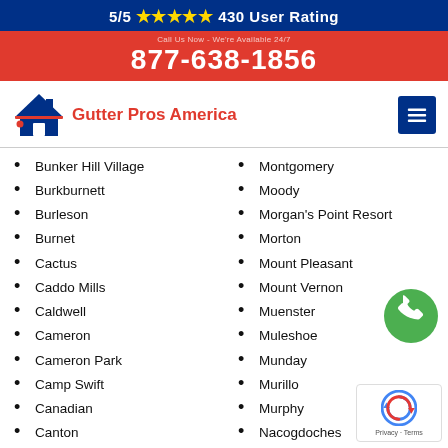5/5 ★★★★★ 430 User Rating
877-638-1856
[Figure (logo): Gutter Pros America logo with house icon and company name]
Bunker Hill Village
Burkburnett
Burleson
Burnet
Cactus
Caddo Mills
Caldwell
Cameron
Cameron Park
Camp Swift
Canadian
Canton
Canutillo
Montgomery
Moody
Morgan's Point Resort
Morton
Mount Pleasant
Mount Vernon
Muenster
Muleshoe
Munday
Murillo
Murphy
Nacogdoches
Naples